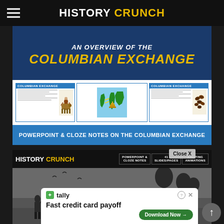HISTORY CRUNCH
AN OVERVIEW OF THE COLUMBIAN EXCHANGE
[Figure (screenshot): Preview slides for Columbian Exchange PowerPoint showing three slide thumbnails with illustrations of a horse rider, a world map, and coffee beans]
POWERPOINT & CLOZE NOTES ON THE COLUMBIAN EXCHANGE
[Figure (screenshot): History Crunch branded product section showing PowerPoint & Cloze Notes, 41 Slides/Pages, Exciting Animations badges above a black-and-white historical image of enslaved people]
Close X
Tally
Fast credit card payoff
Download Now →